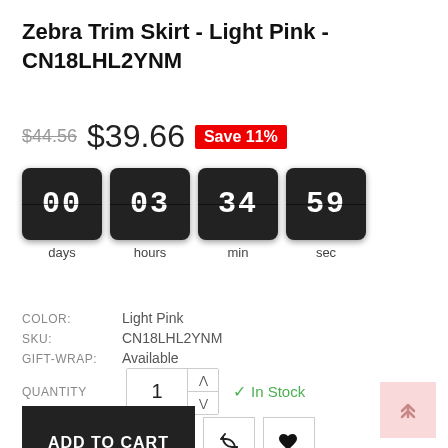Zebra Trim Skirt - Light Pink - CN18LHL2YNM
$44.56  $39.66  Save 11%
[Figure (other): Countdown timer showing 00 days, 03 hours, 34 min, 59 sec with flip-clock style dark boxes]
COLOR: Light Pink
SKU: CN18LHL2YNM
GIFT-WRAP: Available
QUANTITY  1  In Stock
ADD TO CART